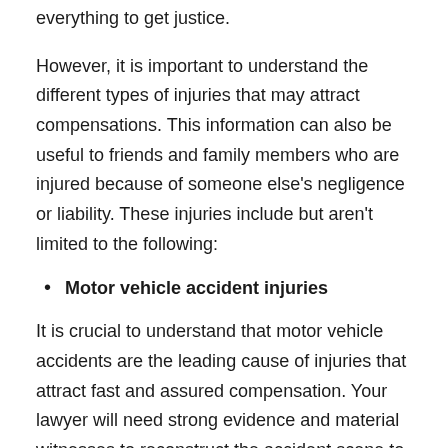everything to get justice.
However, it is important to understand the different types of injuries that may attract compensations. This information can also be useful to friends and family members who are injured because of someone else's negligence or liability. These injuries include but aren't limited to the following:
Motor vehicle accident injuries
It is crucial to understand that motor vehicle accidents are the leading cause of injuries that attract fast and assured compensation. Your lawyer will need strong evidence and material witnesses to reconstruct the accident scene to prove liability under torts of law. It is also important to note that the witness statements and medical records should reflect and match your accounts for the compensation to be awarded. Prevalent injuries that arise from motor vehicle accidents